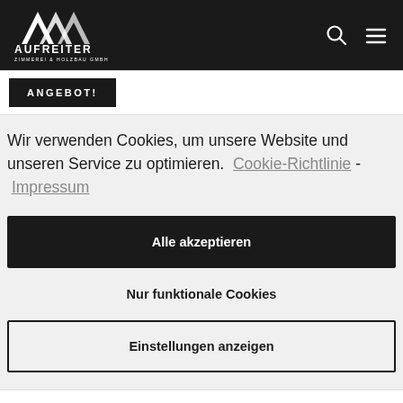[Figure (logo): Aufreiter Zimmerei & Holzbau GmbH logo — white stylized A mark with company name below on black header bar]
AUFREITER ZIMMEREI & HOLZBAU GMBH
ANGEBOT!
Wir verwenden Cookies, um unsere Website und unseren Service zu optimieren.  Cookie-Richtlinie - Impressum
Alle akzeptieren
Nur funktionale Cookies
Einstellungen anzeigen